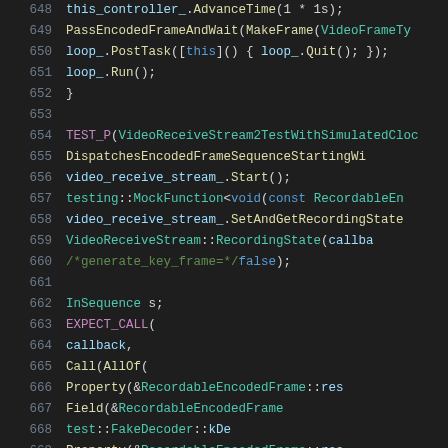[Figure (screenshot): Source code listing in a dark-theme IDE showing C++ test code, lines 648-669, with syntax highlighting. Colors: line numbers in gray, keywords/macros in purple/blue, types in teal, variables in light blue, comments in green.]